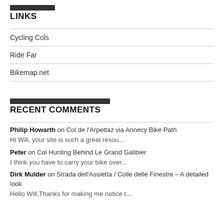LINKS
Cycling Cols
Ride Far
Bikemap.net
RECENT COMMENTS
Philip Howarth on Col de l'Arpettaz via Annecy Bike Path
Hi Will, your site is such a great resou...
Peter on Col Hunting Behind Le Grand Galibier
I think you have to carry your bike over...
Dirk Mulder on Strada dell'Assietta / Colle delle Finestre – A detailed look
Hello Will,Thanks for making me notice t...